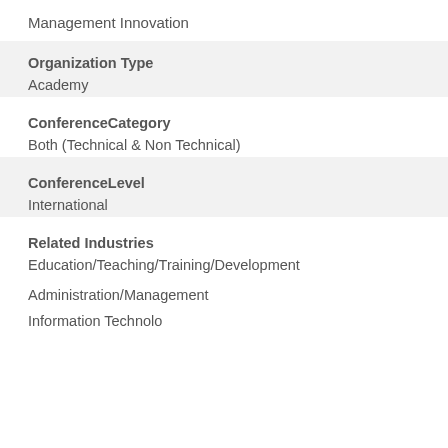Management Innovation
Organization Type
Academy
ConferenceCategory
Both (Technical & Non Technical)
ConferenceLevel
International
Related Industries
Education/Teaching/Training/Development
Administration/Management
Information Technology